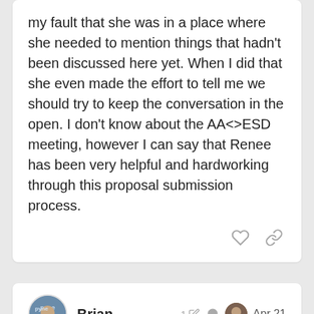my fault that she was in a place where she needed to mention things that hadn't been discussed here yet. When I did that she even made the effort to tell me we should try to keep the conversation in the open. I don't know about the AA<>ESD meeting, however I can say that Renee has been very helpful and hardworking through this proposal submission process.
Brian  1  Apr 21
@lee0007 Hey following up here- could you introduce me to the LexDAO members who are thinking about making a new propos… can team up to do it together or at le…
17 / 22